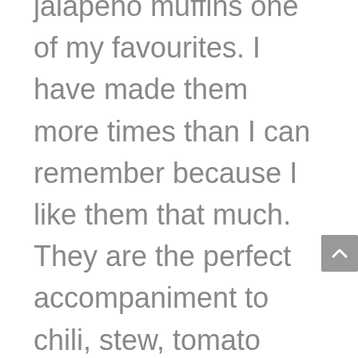jalapeño muffins one of my favourites. I have made them more times than I can remember because I like them that much. They are the perfect accompaniment to chili, stew, tomato soup or green salad and so good about ten minutes out of the oven. Just long enough for them to cool down